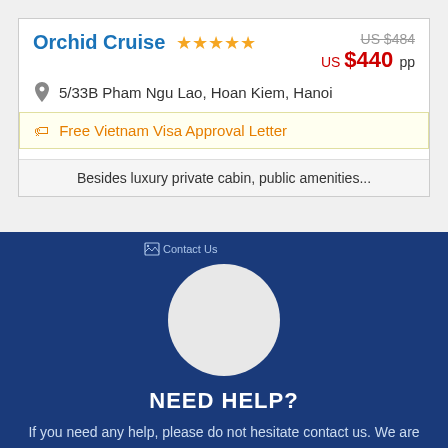Orchid Cruise ★★★★★
US $484 (strikethrough) US $440 pp
5/33B Pham Ngu Lao, Hoan Kiem, Hanoi
Free Vietnam Visa Approval Letter
Besides luxury private cabin, public amenities...
[Figure (photo): Broken image placeholder for Contact Us avatar photo]
NEED HELP?
If you need any help, please do not hesitate contact us. We are here 24/7 to support you!
info@asiacharmtours.com